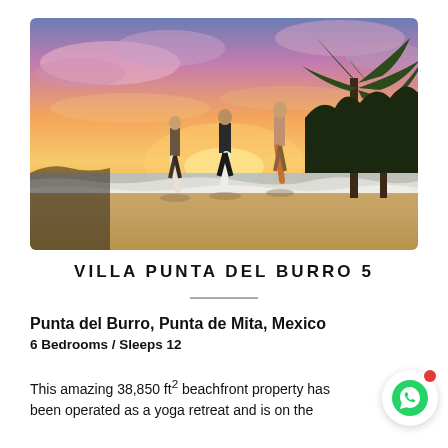[Figure (photo): Three surfers carrying surfboards walking along a beach at sunset with vivid orange, pink, and purple sky and palm trees on the right]
VILLA PUNTA DEL BURRO 5
Punta del Burro, Punta de Mita, Mexico
6 Bedrooms / Sleeps 12
This amazing 38,850 ft2 beachfront property has been operated as a yoga retreat and is on the